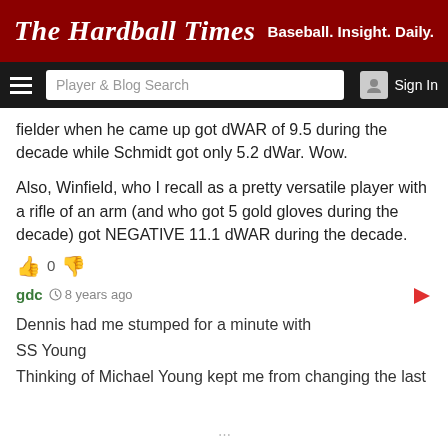The Hardball Times — Baseball. Insight. Daily.
fielder when he came up got dWAR of 9.5 during the decade while Schmidt got only 5.2 dWar.  Wow.

Also, Winfield, who I recall as a pretty versatile player with a rifle of an arm (and who got 5 gold gloves during the decade) got NEGATIVE 11.1 dWAR during the decade.
gdc  8 years ago
Dennis had me stumped for a minute with
SS Young
Thinking of Michael Young kept me from changing the last